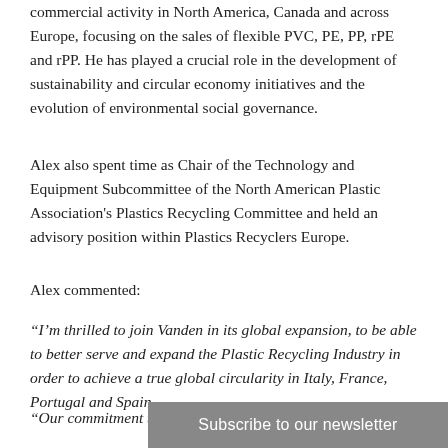commercial activity in North America, Canada and across Europe, focusing on the sales of flexible PVC, PE, PP, rPE and rPP. He has played a crucial role in the development of sustainability and circular economy initiatives and the evolution of environmental social governance.
Alex also spent time as Chair of the Technology and Equipment Subcommittee of the North American Plastic Association's Plastics Recycling Committee and held an advisory position within Plastics Recyclers Europe.
Alex commented:
“I’m thrilled to join Vanden in its global expansion, to be able to better serve and expand the Plastic Recycling Industry in order to achieve a true global circularity in Italy, France, Portugal and Spain.
“Our commitment to oper
Subscribe to our newsletter